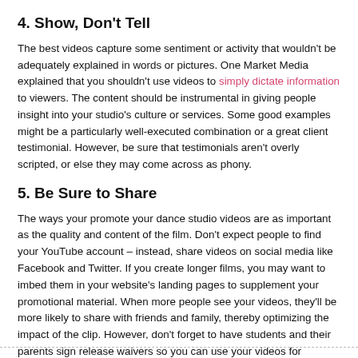4. Show, Don't Tell
The best videos capture some sentiment or activity that wouldn't be adequately explained in words or pictures. One Market Media explained that you shouldn't use videos to simply dictate information to viewers. The content should be instrumental in giving people insight into your studio's culture or services. Some good examples might be a particularly well-executed combination or a great client testimonial. However, be sure that testimonials aren't overly scripted, or else they may come across as phony.
5. Be Sure to Share
The ways your promote your dance studio videos are as important as the quality and content of the film. Don't expect people to find your YouTube account – instead, share videos on social media like Facebook and Twitter. If you create longer films, you may want to imbed them in your website's landing pages to supplement your promotional material. When more people see your videos, they'll be more likely to share with friends and family, thereby optimizing the impact of the clip. However, don't forget to have students and their parents sign release waivers so you can use your videos for promotional purposes.